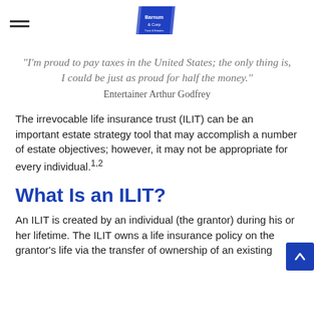Barnum & Corp logo and navigation
"I'm proud to pay taxes in the United States; the only thing is, I could be just as proud for half the money." Entertainer Arthur Godfrey
The irrevocable life insurance trust (ILIT) can be an important estate strategy tool that may accomplish a number of estate objectives; however, it may not be appropriate for every individual.1,2
What Is an ILIT?
An ILIT is created by an individual (the grantor) during his or her lifetime. The ILIT owns a life insurance policy on the grantor's life via the transfer of ownership of an existing policy or through the annual premiums and contributions of an